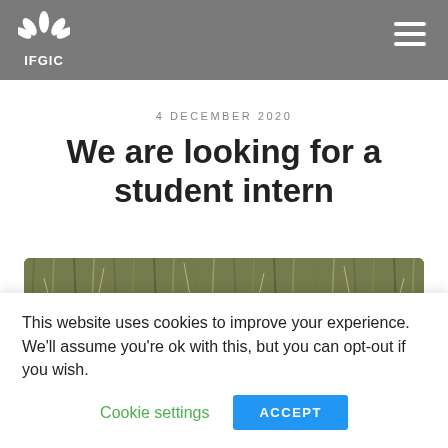IFGIC
4 DECEMBER 2020
We are looking for a student intern
[Figure (photo): Close-up photograph of grass or hay, brown and green dried grass blades viewed from above]
This website uses cookies to improve your experience. We'll assume you're ok with this, but you can opt-out if you wish.
Cookie settings   ACCEPT